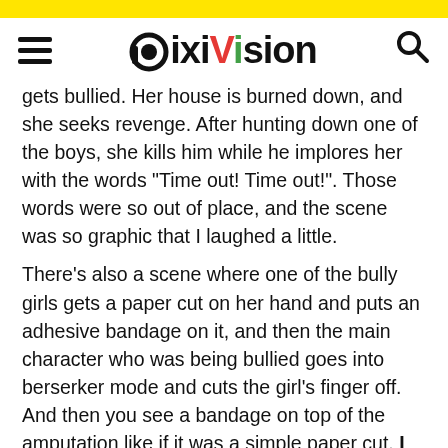PixiVision
gets bullied. Her house is burned down, and she seeks revenge. After hunting down one of the boys, she kills him while he implores her with the words "Time out! Time out!". Those words were so out of place, and the scene was so graphic that I laughed a little.
There's also a scene where one of the bully girls gets a paper cut on her hand and puts an adhesive bandage on it, and then the main character who was being bullied goes into berserker mode and cuts the girl's finger off. And then you see a bandage on top of the amputation like if it was a simple paper cut. I really felt that the artist tried to do whatever possible to make those scenes unpleasant. It's like he's trying to figure out how much